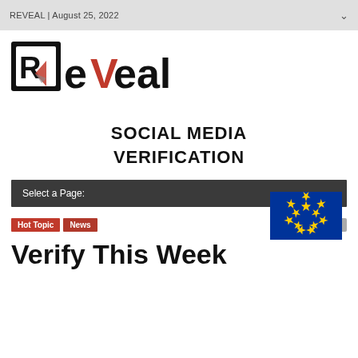REVEAL | August 25, 2022
[Figure (logo): REVEAL logo — black square with stylized R, followed by red V, black 'eal' text]
SOCIAL MEDIA VERIFICATION
[Figure (illustration): European Union flag — blue rectangle with circle of 12 yellow stars]
Select a Page:
Hot Topic
News
No Comments
Verify This Week